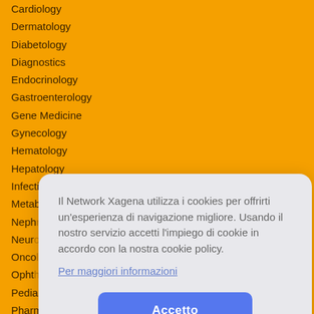Cardiology
Dermatology
Diabetology
Diagnostics
Endocrinology
Gastroenterology
Gene Medicine
Gynecology
Hematology
Hepatology
Infectivology
Metabolism
Nephrology (partially hidden)
Neurology (partially hidden)
Oncology (partially hidden)
Ophthalmology (partially hidden)
Pediatrics (partially hidden)
Pharmacology (partially hidden)
Psychiatry (partially hidden)
Pulmonology (partially hidden)
Rheumatology (partially hidden)
Stem (partially hidden)
Urology (partially hidden)
Vaccines (partially hidden)
Virology
Il Network Xagena utilizza i cookies per offrirti un’esperienza di navigazione migliore. Usando il nostro servizio accetti l’impiego di cookie in accordo con la nostra cookie policy.
Per maggiori informazioni
Accetto